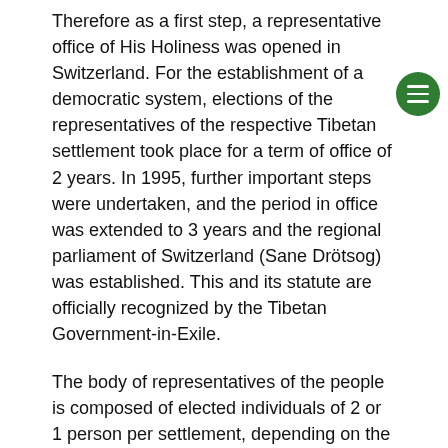Therefore as a first step, a representative office of His Holiness was opened in Switzerland. For the establishment of a democratic system, elections of the representatives of the respective Tibetan settlement took place for a term of office of 2 years. In 1995, further important steps were undertaken, and the period in office was extended to 3 years and the regional parliament of Switzerland (Sane Drötsog) was established. This and its statute are officially recognized by the Tibetan Government-in-Exile.
The body of representatives of the people is composed of elected individuals of 2 or 1 person per settlement, depending on the size of the membership of the regional parliaments. The president as well as vice-president of TCSL are selected from among these members. It is ensured through this structure that all reports, resolutions and arrangements of the Tibetan Government-in-Exile can be properly arrived at the  individual settlements and thus to the individual Tibetans.
The Committee is obliged in the definition and execution of